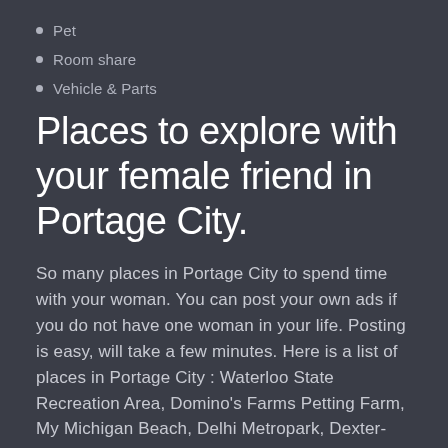Pet
Room share
Vehicle & Parts
Places to explore with your female friend in Portage City.
So many places in Portage City to spend time with your woman. You can post your own ads if you do not have one woman in your life. Posting is easy, will take a few minutes. Here is a list of places in Portage City : Waterloo State Recreation Area, Domino's Farms Petting Farm, My Michigan Beach, Delhi Metropark, Dexter-Huron Metropark, Timber Town, Chelsea State Game Area, Hudson Mills Metropark, DTE Energy Foundation Trail, Portage Lake Campground, German Park Recreation Club, Innovation Hills, Bird Hills Nature Area, Barton Nature Area, Murray Lake Club, Portage…